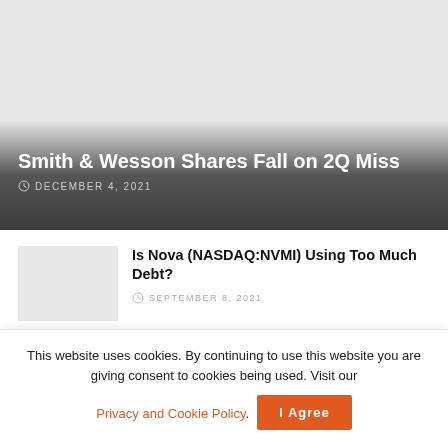[Figure (photo): Hero image area with gray background showing Smith & Wesson article with dark gradient overlay]
Smith & Wesson Shares Fall on 2Q Miss
DECEMBER 4, 2021
[Figure (photo): Small thumbnail image placeholder for Nova NVMI article]
Is Nova (NASDAQ:NVMI) Using Too Much Debt?
SEPTEMBER 8, 2021
This website uses cookies. By continuing to use this website you are giving consent to cookies being used. Visit our Privacy and Cookie Policy. I Agree